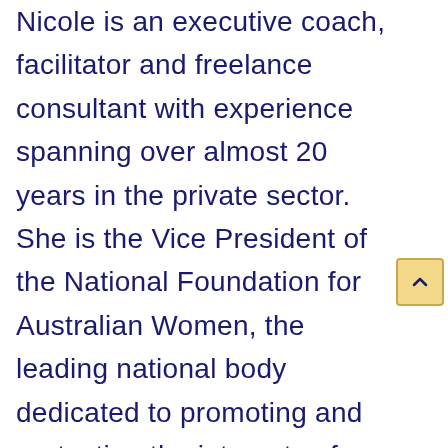Nicole is an executive coach, facilitator and freelance consultant with experience spanning over almost 20 years in the private sector. She is the Vice President of the National Foundation for Australian Women, the leading national body dedicated to promoting and protecting the interests of Australian women, and a Council Member of Economic Security4Women, one of the six national alliances funded by the Office for Women. Nicole is also a non-executive Director of Performing Lines, a performing arts company that develops, produces and tours innovative Australian performance